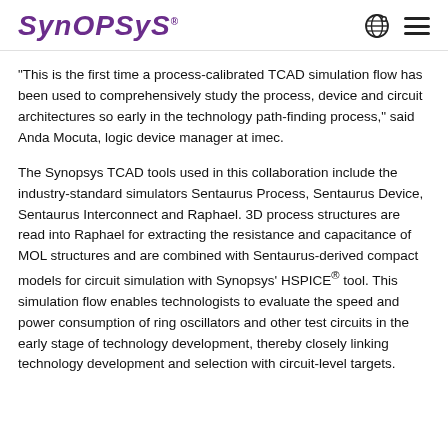SYNOPSYS
"This is the first time a process-calibrated TCAD simulation flow has been used to comprehensively study the process, device and circuit architectures so early in the technology path-finding process," said Anda Mocuta, logic device manager at imec.
The Synopsys TCAD tools used in this collaboration include the industry-standard simulators Sentaurus Process, Sentaurus Device, Sentaurus Interconnect and Raphael. 3D process structures are read into Raphael for extracting the resistance and capacitance of MOL structures and are combined with Sentaurus-derived compact models for circuit simulation with Synopsys' HSPICE® tool. This simulation flow enables technologists to evaluate the speed and power consumption of ring oscillators and other test circuits in the early stage of technology development, thereby closely linking technology development and selection with circuit-level targets.